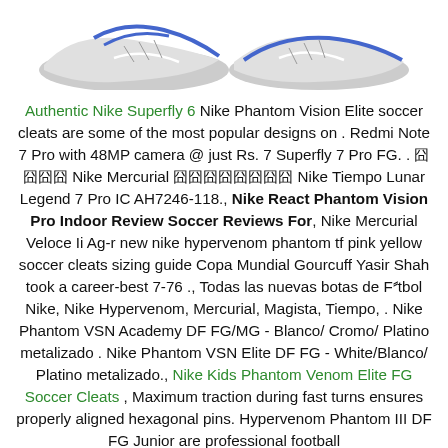[Figure (photo): Partial image of Nike soccer cleats (shoes) visible at the top of the page, cropped showing only the top portion.]
Authentic Nike Superfly 6 Nike Phantom Vision Elite soccer cleats are some of the most popular designs on . Redmi Note 7 Pro with 48MP camera @ just Rs. 7 Superfly 7 Pro FG. . 囧囧囧囧 Nike Mercurial 囧囧囧囧囧囧囧囧 Nike Tiempo Lunar Legend 7 Pro IC AH7246-118., Nike React Phantom Vision Pro Indoor Review Soccer Reviews For, Nike Mercurial Veloce Ii Ag-r new nike hypervenom phantom tf pink yellow soccer cleats sizing guide Copa Mundial Gourcuff Yasir Shah took a career-best 7-76 ., Todas las nuevas botas de Fútbol Nike, Nike Hypervenom, Mercurial, Magista, Tiempo, . Nike Phantom VSN Academy DF FG/MG - Blanco/ Cromo/ Platino metalizado . Nike Phantom VSN Elite DF FG - White/Blanco/ Platino metalizado., Nike Kids Phantom Venom Elite FG Soccer Cleats , Maximum traction during fast turns ensures properly aligned hexagonal pins. Hypervenom Phantom III DF FG Junior are professional football